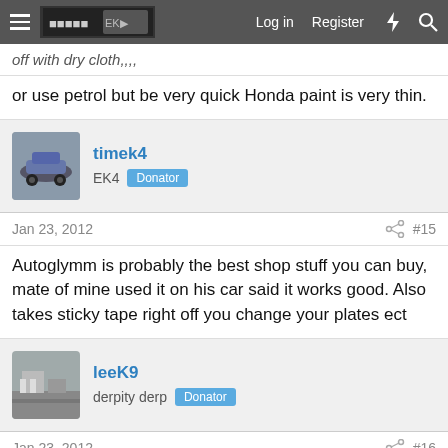Log in  Register
off with dry cloth,,,,
or use petrol but be very quick Honda paint is very thin.
timek4
EK4  Donator
Jan 23, 2012  #15
Autoglymm is probably the best shop stuff you can buy, mate of mine used it on his car said it works good. Also takes sticky tape right off you change your plates ect
leeK9
derpity derp  Donator
Jan 23, 2012  #16
concept tar remover